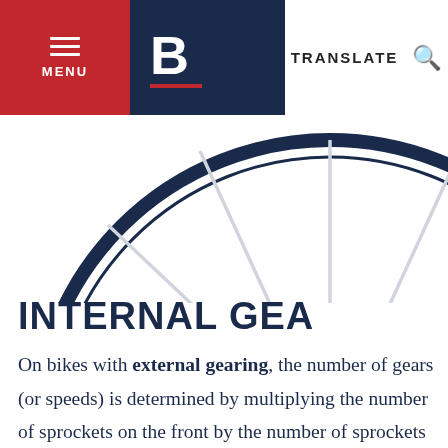MENU | B | TRANSLATE
[Figure (illustration): Partial bicycle wheel illustration showing spokes and dark rim, cropped at top of page]
INTERNAL GEAR
On bikes with external gearing, the number of gears (or speeds) is determined by multiplying the number of sprockets on the front by the number of sprockets on the back. For example, a 21-speed bike has 3 sprockets in the front and 7 in the back.